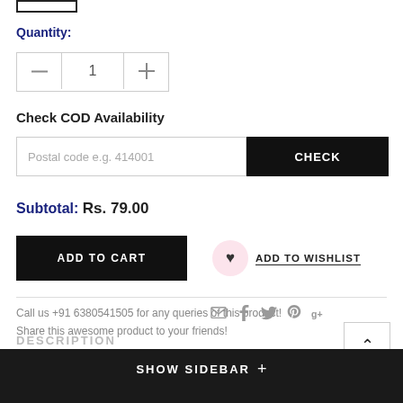[Figure (screenshot): Top stub showing partial UI element (rectangle border)]
Quantity:
[Figure (screenshot): Quantity stepper widget with minus, 1, plus buttons]
Check COD Availability
[Figure (screenshot): Postal code input field with placeholder 'Postal code e.g. 414001' and CHECK button]
Subtotal: Rs. 79.00
[Figure (screenshot): ADD TO CART button and ADD TO WISHLIST button with heart icon]
Call us +91 6380541505 for any queries of this product!
Share this awesome product to your friends!
[Figure (screenshot): Social share icons: email, facebook, twitter, pinterest, google plus]
[Figure (screenshot): Back to top arrow button]
SHOW SIDEBAR +
DESCRIPTION